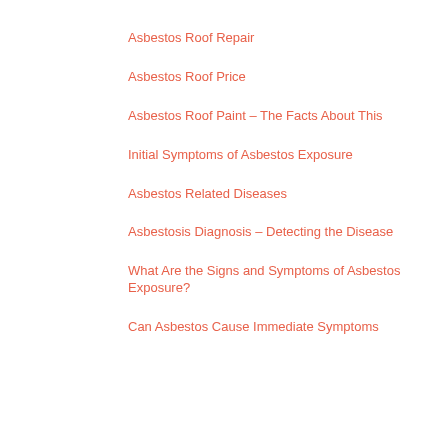Asbestos Roof Repair
Asbestos Roof Price
Asbestos Roof Paint – The Facts About This
Initial Symptoms of Asbestos Exposure
Asbestos Related Diseases
Asbestosis Diagnosis – Detecting the Disease
What Are the Signs and Symptoms of Asbestos Exposure?
Can Asbestos Cause Immediate Symptoms